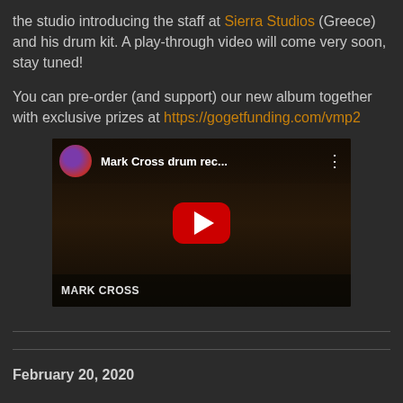the studio introducing the staff at Sierra Studios (Greece) and his drum kit. A play-through video will come very soon, stay tuned!
You can pre-order (and support) our new album together with exclusive prizes at https://gogetfunding.com/vmp2
[Figure (screenshot): YouTube video thumbnail for 'Mark Cross drum rec...' showing a person in a studio with a red play button overlay, and the text 'MARK CROSS' at the bottom]
February 20, 2020